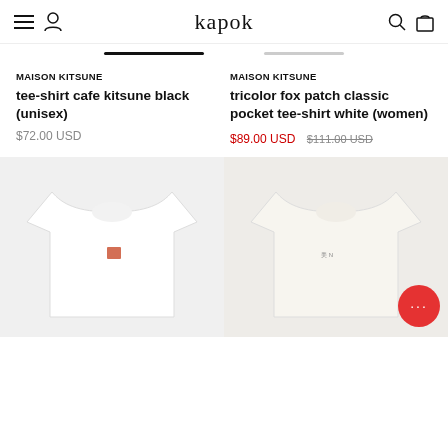kapok
MAISON KITSUNE
tee-shirt cafe kitsune black (unisex)
$72.00 USD
MAISON KITSUNE
tricolor fox patch classic pocket tee-shirt white (women)
$89.00 USD  $111.00 USD
[Figure (photo): White t-shirt with small fox patch logo on chest]
[Figure (photo): Off-white/cream t-shirt with small logo on chest, chat button overlay]